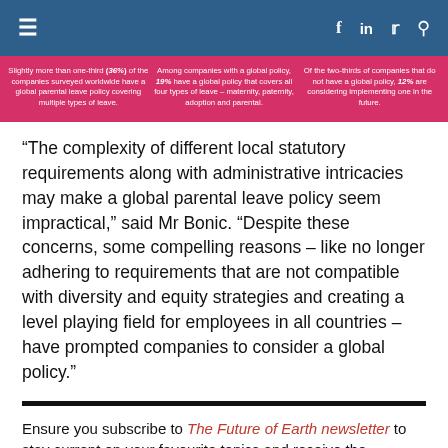Navigation bar with hamburger menu, facebook, linkedin, twitter, and search icons
Slightly more than one-third (36%) of the companies surveyed worldwide have a global parental leave policy covering multiple types of leave.
Among companies with a global policy, 19% have a global policy that covers all four types of leave – maternity, paternity, adoption and parental.
Of the two-thirds of companies that do not have a global policy, 12% are considering implementing one in the future.
“The complexity of different local statutory requirements along with administrative intricacies may make a global parental leave policy seem impractical,” said Mr Bonic. “Despite these concerns, some compelling reasons – like no longer adhering to requirements that are not compatible with diversity and equity strategies and creating a level playing field for employees in all countries – have prompted companies to consider a global policy.”
Ensure you subscribe to The Future of Earth newsletter to stay current on your favourite topics and receive the